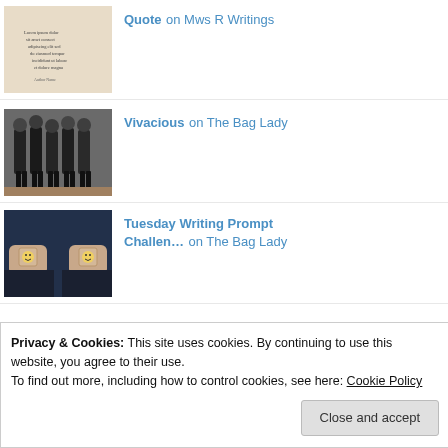Quote on Mws R Writings
[Figure (photo): Beige book cover with small text]
Vivacious on The Bag Lady
[Figure (photo): Group of girls in black sports uniforms standing together outdoors]
Tuesday Writing Prompt Challen... on The Bag Lady
[Figure (photo): Two hands holding small square objects with smiley faces, dark background]
Privacy & Cookies: This site uses cookies. By continuing to use this website, you agree to their use.
To find out more, including how to control cookies, see here: Cookie Policy
Close and accept